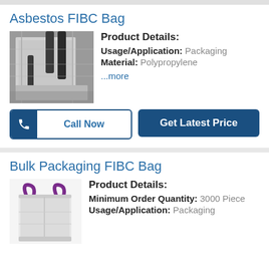Asbestos FIBC Bag
[Figure (photo): Photo of an Asbestos FIBC Bag, grayish large bulk bag with black straps/loops, close-up interior corner view]
Product Details:
Usage/Application: Packaging
Material: Polypropylene
...more
Call Now
Get Latest Price
Bulk Packaging FIBC Bag
[Figure (photo): Photo of a Bulk Packaging FIBC Bag, white large bulk bag with purple lift loops/straps]
Product Details:
Minimum Order Quantity: 3000 Piece
Usage/Application: Packaging